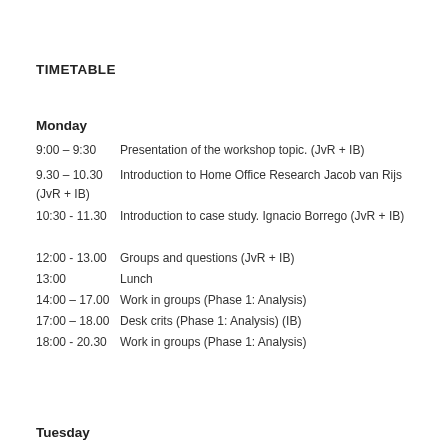TIMETABLE
Monday
9:00 – 9:30    Presentation of the workshop topic. (JvR + IB)
9.30 – 10.30    Introduction to Home Office Research Jacob van Rijs (JvR + IB)
10:30 - 11.30    Introduction to case study. Ignacio Borrego (JvR + IB)
12:00 - 13.00    Groups and questions (JvR + IB)
13:00   Lunch
14:00 – 17.00    Work in groups (Phase 1: Analysis)
17:00 – 18.00    Desk crits (Phase 1: Analysis) (IB)
18:00 - 20.30    Work in groups (Phase 1: Analysis)
Tuesday